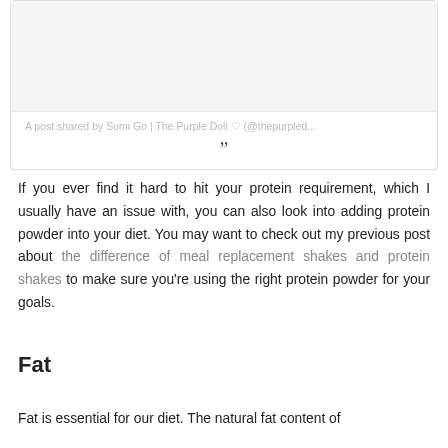[Figure (screenshot): Social media post embed card with light gray image area, caption text 'A post shared by Sumi Go | The Purple Doll ♡ (@thepurpled...' and a closing quotation mark icon]
If you ever find it hard to hit your protein requirement, which I usually have an issue with, you can also look into adding protein powder into your diet. You may want to check out my previous post about the difference of meal replacement shakes and protein shakes to make sure you're using the right protein powder for your goals.
Fat
Fat is essential for our diet. The natural fat content of